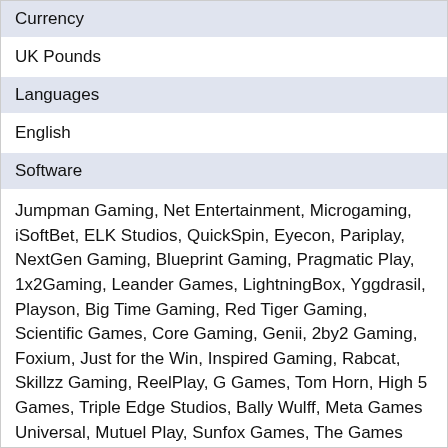Currency
UK Pounds
Languages
English
Software
Jumpman Gaming, Net Entertainment, Microgaming, iSoftBet, ELK Studios, QuickSpin, Eyecon, Pariplay, NextGen Gaming, Blueprint Gaming, Pragmatic Play, 1x2Gaming, Leander Games, LightningBox, Yggdrasil, Playson, Big Time Gaming, Red Tiger Gaming, Scientific Games, Core Gaming, Genii, 2by2 Gaming, Foxium, Just for the Win, Inspired Gaming, Rabcat, Skillzz Gaming, ReelPlay, G Games, Tom Horn, High 5 Games, Triple Edge Studios, Bally Wulff, Meta Games Universal, Mutuel Play, Sunfox Games, The Games Company, Wild Streak Gaming, Fortune Factory Studios and Slingshot Studios